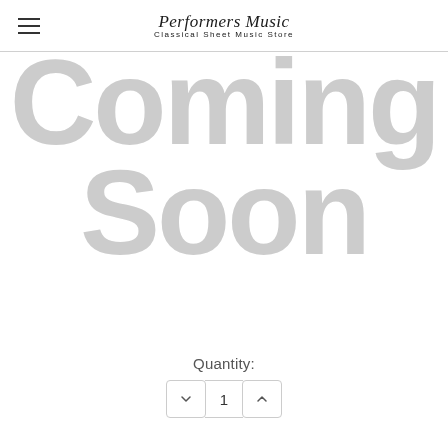Performers Music Classical Sheet Music Store
[Figure (illustration): Large light gray 'Coming Soon' text displayed as a placeholder image on a white background]
Quantity:
1